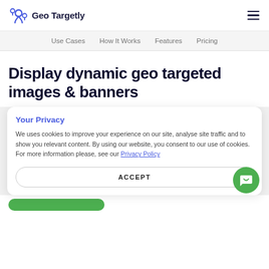Geo Targetly
Use Cases  How It Works  Features  Pricing
Display dynamic geo targeted images & banners
Your Privacy
We uses cookies to improve your experience on our site, analyse site traffic and to show you relevant content. By using our website, you consent to our use of cookies. For more information please, see our Privacy Policy
ACCEPT